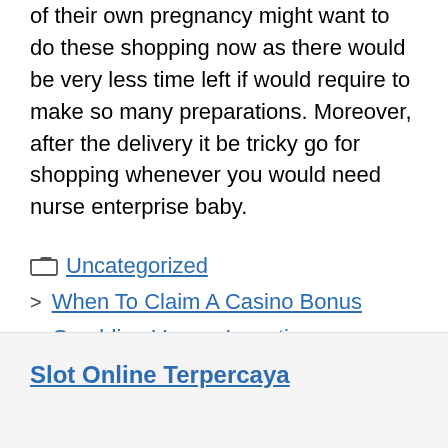of their own pregnancy might want to do these shopping now as there would be very less time left if would require to make so many preparations. Moreover, after the delivery it be tricky go for shopping whenever you would need nurse enterprise baby.
Uncategorized
When To Claim A Casino Bonus
Gambling Versus Investing
Slot Online Terpercaya